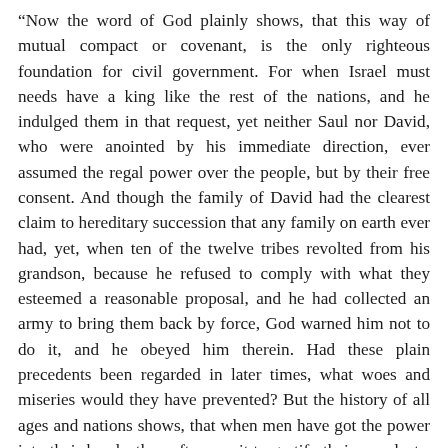“Now the word of God plainly shows, that this way of mutual compact or covenant, is the only righteous foundation for civil government. For when Israel must needs have a king like the rest of the nations, and he indulged them in that request, yet neither Saul nor David, who were anointed by his immediate direction, ever assumed the regal power over the people, but by their free consent. And though the family of David had the clearest claim to hereditary succession that any family on earth ever had, yet, when ten of the twelve tribes revolted from his grandson, because he refused to comply with what they esteemed a reasonable proposal, and he had collected an army to bring them back by force, God warned him not to do it, and he obeyed him therein. Had these plain precedents been regarded in later times, what woes and miseries would they have prevented? But the history of all ages and nations shows, that when men have got the power into their hands, they often use it to gratify their own lusts, and recur to nature, religion or the constitution (as they think it will best serve) to carry, and